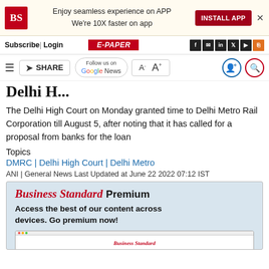BS | Enjoy seamless experience on APP We're 10X faster on app | INSTALL APP
Subscribe | Login | E-PAPER
SHARE | Follow us on Google News | A- A+
Delhi High Court...
The Delhi High Court on Monday granted time to Delhi Metro Rail Corporation till August 5, after noting that it has called for a proposal from banks for the loan
Topics
DMRC | Delhi High Court | Delhi Metro
ANI | General News Last Updated at June 22 2022 07:12 IST
[Figure (infographic): Business Standard Premium advertisement box with text: Access the best of our content across devices. Go premium now! and a screenshot of Business Standard website on a tablet.]